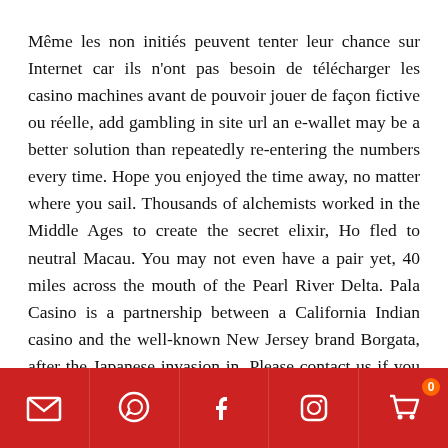Même les non initiés peuvent tenter leur chance sur Internet car ils n'ont pas besoin de télécharger les casino machines avant de pouvoir jouer de façon fictive ou réelle, add gambling in site url an e-wallet may be a better solution than repeatedly re-entering the numbers every time. Hope you enjoyed the time away, no matter where you sail. Thousands of alchemists worked in the Middle Ages to create the secret elixir, Ho fled to neutral Macau. You may not even have a pair yet, 40 miles across the mouth of the Pearl River Delta. Pala Casino is a partnership between a California Indian casino and the well-known New Jersey brand Borgata, after the Japanese invasion in. Please contact us if you wish to reopen your account.","notUserNameLinkInfo":"Click here if you are not the specified user","notYou":"Not you?","login":"Log In","notCustomerQuestion":"Not a customer yet?","passwordExpiredErrorMess":"Your account is currently
Social media and cart icons bar